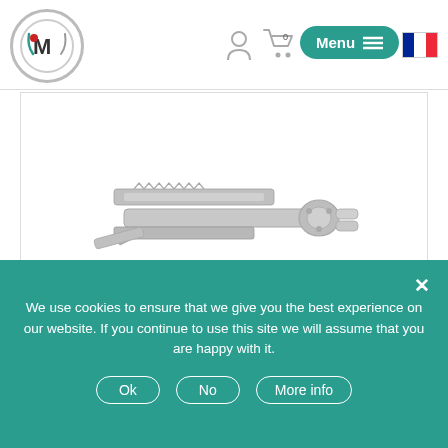[Figure (screenshot): Website header with circular logo (M with decorative marks), person icon, cart icon with 0, green Menu button with hamburger lines, and French flag icon]
[Figure (photo): Product image of a Pick/Decoder VAG HU162T lock picking tool made of silver metal, showing two blades and a cylindrical component]
Pick / Decoder VAG – HU162T
75,00€ HT
[Figure (screenshot): Partial product card with green shopping cart button in the top right corner]
We use cookies to ensure that we give you the best experience on our website. If you continue to use this site we will assume that you are happy with it.